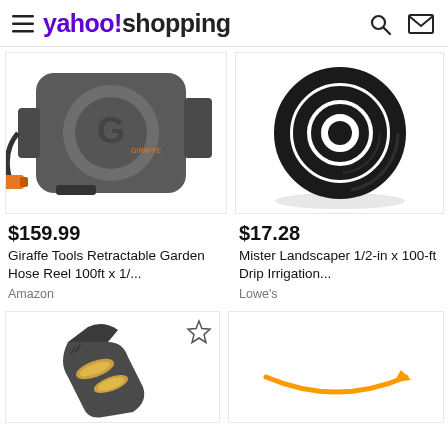yahoo!shopping
[Figure (photo): Giraffe Tools retractable garden hose reel, dark gray, wall-mounted, with orange spray nozzle]
[Figure (photo): Black drip irrigation tubing coiled in a circle on white background]
$159.99
Giraffe Tools Retractable Garden Hose Reel 100ft x 1/...
Amazon
$17.28
Mister Landscaper 1/2-in x 100-ft Drip Irrigation...
Lowe's
[Figure (photo): Dark gray garden hose nozzle/connector with brass fittings, star/favorite icon overlay]
[Figure (logo): Amazon logo (smile arrow) on white background, partially visible]